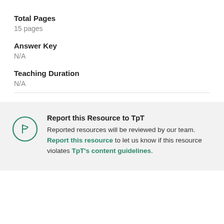Total Pages
15 pages
Answer Key
N/A
Teaching Duration
N/A
Report this Resource to TpT
Reported resources will be reviewed by our team. Report this resource to let us know if this resource violates TpT's content guidelines.